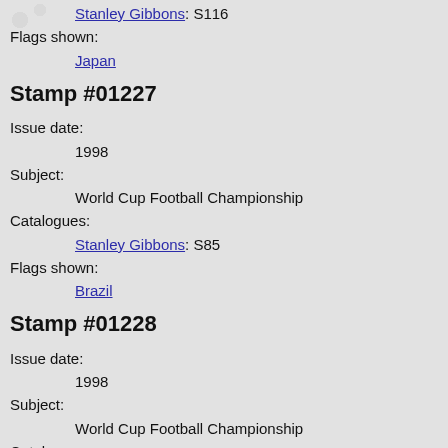Stanley Gibbons: S116
Flags shown:
Japan
Stamp #01227
Issue date:
1998
Subject:
World Cup Football Championship
Catalogues:
Stanley Gibbons: S85
Flags shown:
Brazil
Stamp #01228
Issue date:
1998
Subject:
World Cup Football Championship
Catalogues:
Stanley Gibbons: S86
Flags shown:
Morocco